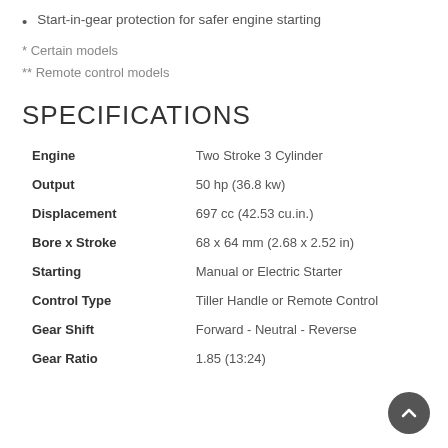Start-in-gear protection for safer engine starting
* Certain models
** Remote control models
SPECIFICATIONS
| Specification | Value |
| --- | --- |
| Engine | Two Stroke 3 Cylinder |
| Output | 50 hp (36.8 kw) |
| Displacement | 697 cc (42.53 cu.in.) |
| Bore x Stroke | 68 x 64 mm (2.68 x 2.52 in) |
| Starting | Manual or Electric Starter |
| Control Type | Tiller Handle or Remote Control |
| Gear Shift | Forward - Neutral - Reverse |
| Gear Ratio | 1.85 (13:24) |